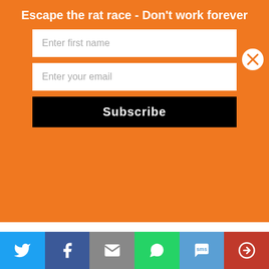Escape the rat race - Don't work forever
Enter first name
Enter your email
Subscribe
earned $1,591.43**. I spent maybe 10 minutes of my time depositing the checks with my smart phone. As a result, I earned $1,591.43 for 10 minutes of effort!!! September 2017 was a great awesome PERFECT month for rental property #2. Does this income beat your day job?
My mortgage debt decreased $716.29. When factoring paying down my debt, rental property #2